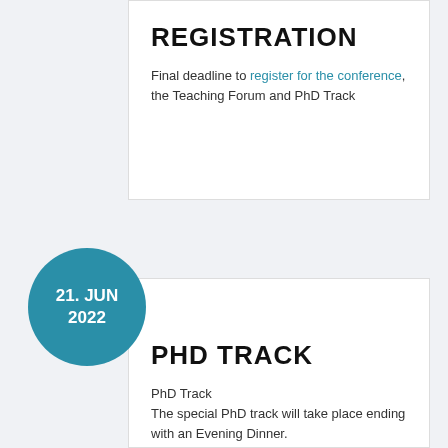REGISTRATION
Final deadline to register for the conference, the Teaching Forum and PhD Track
[Figure (other): Teal circle badge with date: 21. JUN 2022]
PHD TRACK
PhD Track
The special PhD track will take place ending with an Evening Dinner.